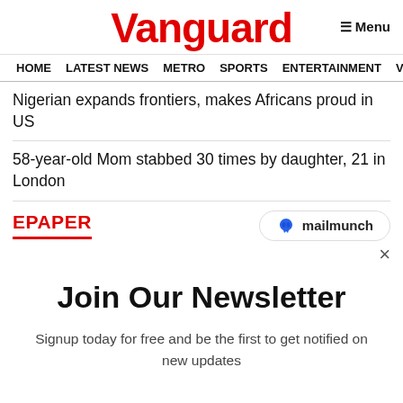Vanguard
HOME  LATEST NEWS  METRO  SPORTS  ENTERTAINMENT  VIDEOS
Nigerian expands frontiers, makes Africans proud in US
58-year-old Mom stabbed 30 times by daughter, 21 in London
EPAPER
[Figure (logo): mailmunch logo badge]
×
Join Our Newsletter
Signup today for free and be the first to get notified on new updates